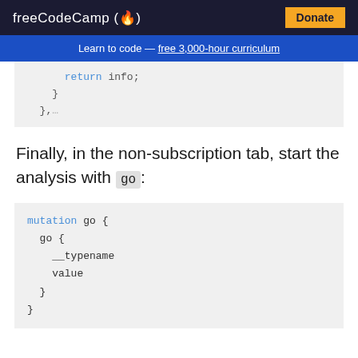freeCodeCamp(🔥)  Donate
Learn to code — free 3,000-hour curriculum
[Figure (screenshot): Code snippet showing: return info; followed by closing braces },…]
Finally, in the non-subscription tab, start the analysis with go:
[Figure (screenshot): Code snippet showing: mutation go { go { __typename value } }]